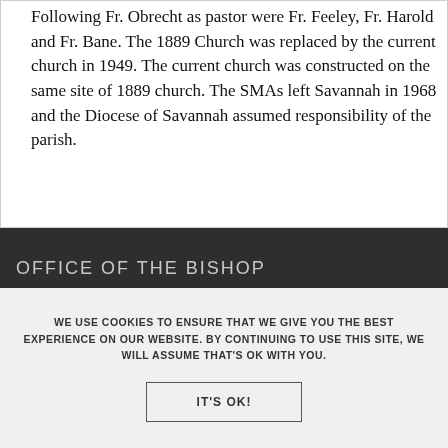Following Fr. Obrecht as pastor were Fr. Feeley, Fr. Harold and Fr. Bane. The 1889 Church was replaced by the current church in 1949. The current church was constructed on the same site of 1889 church. The SMAs left Savannah in 1968 and the Diocese of Savannah assumed responsibility of the parish.
OFFICE OF THE BISHOP
WE USE COOKIES TO ENSURE THAT WE GIVE YOU THE BEST EXPERIENCE ON OUR WEBSITE. BY CONTINUING TO USE THIS SITE, WE WILL ASSUME THAT'S OK WITH YOU.
IT'S OK!